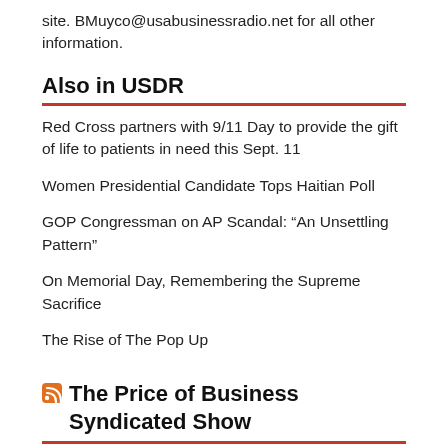site. BMuyco@usabusinessradio.net for all other information.
Also in USDR
Red Cross partners with 9/11 Day to provide the gift of life to patients in need this Sept. 11
Women Presidential Candidate Tops Haitian Poll
GOP Congressman on AP Scandal: “An Unsettling Pattern”
On Memorial Day, Remembering the Supreme Sacrifice
The Rise of The Pop Up
The Price of Business Syndicated Show